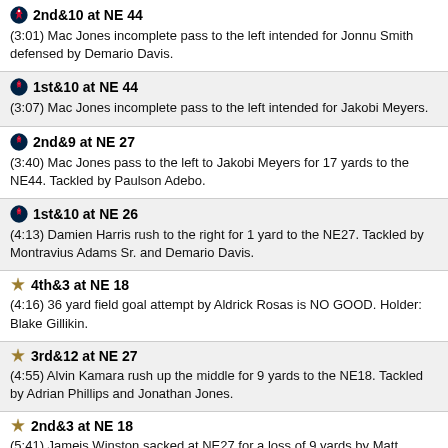2nd&10 at NE 44
(3:01) Mac Jones incomplete pass to the left intended for Jonnu Smith defensed by Demario Davis.
1st&10 at NE 44
(3:07) Mac Jones incomplete pass to the left intended for Jakobi Meyers.
2nd&9 at NE 27
(3:40) Mac Jones pass to the left to Jakobi Meyers for 17 yards to the NE44. Tackled by Paulson Adebo.
1st&10 at NE 26
(4:13) Damien Harris rush to the right for 1 yard to the NE27. Tackled by Montravius Adams Sr. and Demario Davis.
4th&3 at NE 18
(4:16) 36 yard field goal attempt by Aldrick Rosas is NO GOOD. Holder: Blake Gillikin.
3rd&12 at NE 27
(4:55) Alvin Kamara rush up the middle for 9 yards to the NE18. Tackled by Adrian Phillips and Jonathan Jones.
2nd&3 at NE 18
(5:41) Jameis Winston sacked at NE27 for a loss of 9 yards by Matt Judon.
1st&10 at NE 25